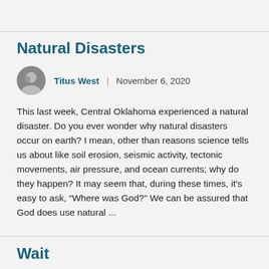Natural Disasters
Titus West  |  November 6, 2020
This last week, Central Oklahoma experienced a natural disaster. Do you ever wonder why natural disasters occur on earth? I mean, other than reasons science tells us about like soil erosion, seismic activity, tectonic movements, air pressure, and ocean currents; why do they happen? It may seem that, during these times, it's easy to ask, “Where was God?” We can be assured that God does use natural ...
Wait